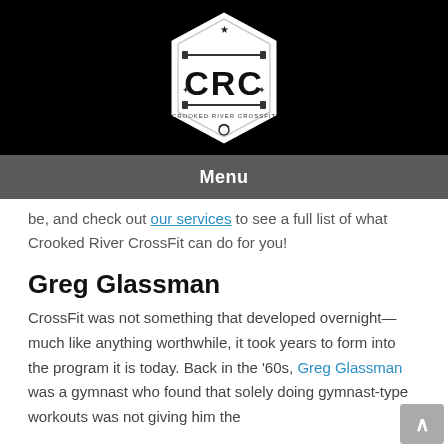[Figure (logo): CRC Crooked River CrossFit hexagon logo in white on black background]
Menu
be, and check out our services to see a full list of what Crooked River CrossFit can do for you!
Greg Glassman
CrossFit was not something that developed overnight—much like anything worthwhile, it took years to form into the program it is today. Back in the '60s, Greg Glassman was a gymnast who found that solely doing gymnast-type workouts was not giving him the